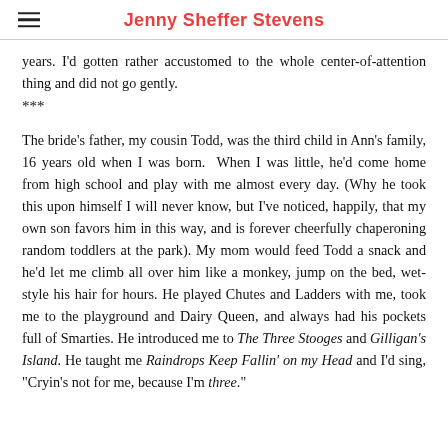Jenny Sheffer Stevens
years. I'd gotten rather accustomed to the whole center-of-attention thing and did not go gently.
***
The bride's father, my cousin Todd, was the third child in Ann's family, 16 years old when I was born. When I was little, he'd come home from high school and play with me almost every day. (Why he took this upon himself I will never know, but I've noticed, happily, that my own son favors him in this way, and is forever cheerfully chaperoning random toddlers at the park). My mom would feed Todd a snack and he'd let me climb all over him like a monkey, jump on the bed, wet-style his hair for hours. He played Chutes and Ladders with me, took me to the playground and Dairy Queen, and always had his pockets full of Smarties. He introduced me to The Three Stooges and Gilligan's Island. He taught me Raindrops Keep Fallin' on my Head and I'd sing, "Cryin's not for me, because I'm three."